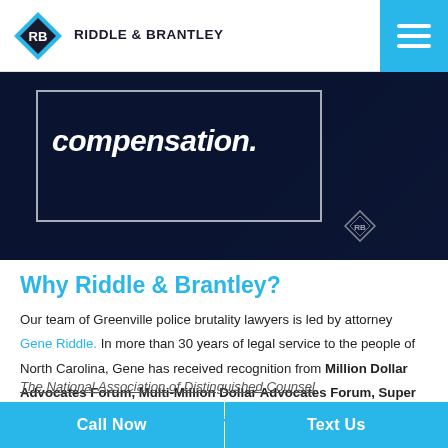Riddle & Brantley
[Figure (photo): Dark hero banner image showing the word 'compensation.' in white italic bold text inside a white border box, set against a dark navy/black background with subtle imagery.]
Why Riddle & Brantley?
Our team of Greenville police brutality lawyers is led by attorney Gene Riddle. In more than 30 years of legal service to the people of North Carolina, Gene has received recognition from Million Dollar Advocates Forum, Multi-Million Dollar Advocates Forum, Super Lawyers and The National Trial Lawyers Top 100. He is a member of The National Association of Distinguished Counsel
Call Now   Text Us